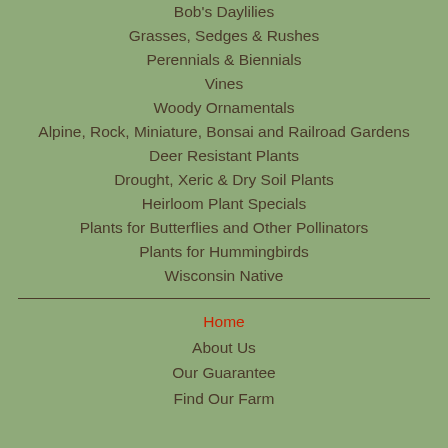Bob's Daylilies
Grasses, Sedges & Rushes
Perennials & Biennials
Vines
Woody Ornamentals
Alpine, Rock, Miniature, Bonsai and Railroad Gardens
Deer Resistant Plants
Drought, Xeric & Dry Soil Plants
Heirloom Plant Specials
Plants for Butterflies and Other Pollinators
Plants for Hummingbirds
Wisconsin Native
Home
About Us
Our Guarantee
Find Our Farm